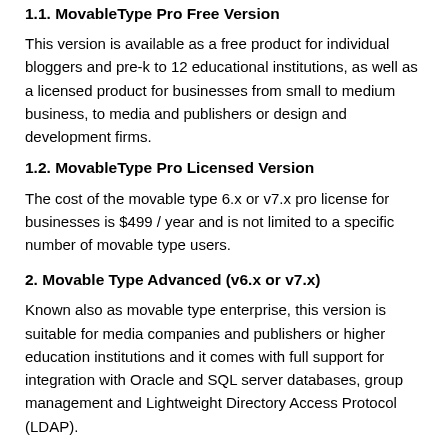1.1. MovableType Pro Free Version
This version is available as a free product for individual bloggers and pre-k to 12 educational institutions, as well as a licensed product for businesses from small to medium business, to media and publishers or design and development firms.
1.2. MovableType Pro Licensed Version
The cost of the movable type 6.x or v7.x pro license for businesses is $499 / year and is not limited to a specific number of movable type users.
2. Movable Type Advanced (v6.x or v7.x)
Known also as movable type enterprise, this version is suitable for media companies and publishers or higher education institutions and it comes with full support for integration with Oracle and SQL server databases, group management and Lightweight Directory Access Protocol (LDAP).
Which version is the right one for me?